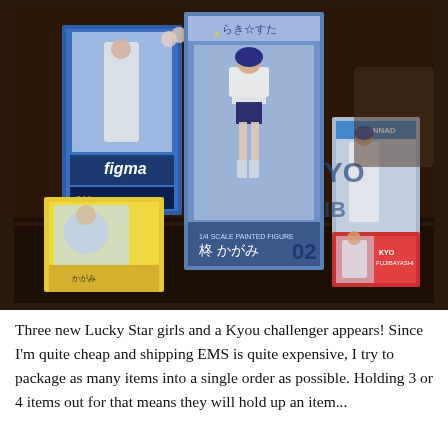[Figure (photo): Photo of four anime figure boxes arranged on a table against a dark background. Left: a Figma figure box (044) with blue-haired character. Center-left: a yellow-boxed chibi-style figure with a purple-haired anime girl depicted at bottom. Center: a large 1/4 scale painted figure box showing a girl in school gym clothes labeled '柊かがみ 02'. Right top: a CLANNAD box with anime girl figure. Right bottom: a small Kyou Fujibayashi box.]
Three new Lucky Star girls and a Kyou challenger appears! Since I'm quite cheap and shipping EMS is quite expensive, I try to package as many items into a single order as possible. Holding 3 or 4 items out for that means they will hold up an item...